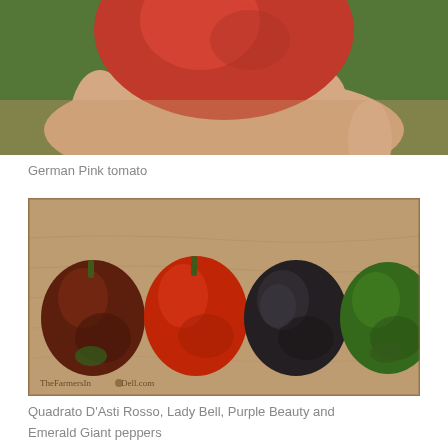[Figure (photo): A hand holding a large red German Pink tomato against a green grass background. The photo is cropped showing the lower portion of the image.]
German Pink tomato
[Figure (photo): Four bell peppers lined up on a wooden surface: a dark brownish-red pepper, a bright red pepper, a very dark purple-black pepper, and a bright green pepper. A watermark reads TheFarmersInDell.com.]
Quadrato D'Asti Rosso, Lady Bell, Purple Beauty and Emerald Giant peppers